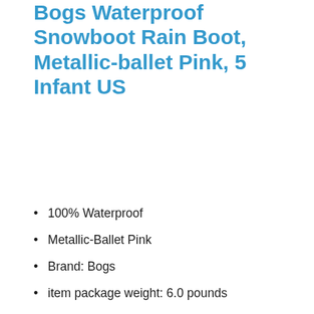Bogs Waterproof Snowboot Rain Boot, Metallic-ballet Pink, 5 Infant US
100% Waterproof
Metallic-Ballet Pink
Brand: Bogs
item package weight: 6.0 pounds
Buy on Amazon
Best Seller #10
[Figure (photo): Product photo of yellow Bogs rain boot, partially visible at the bottom of the page]